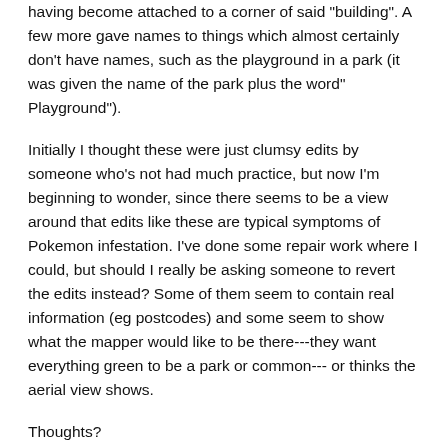having become attached to a corner of said "building". A few more gave names to things which almost certainly don't have names, such as the playground in a park (it was given the name of the park plus the word" Playground").
Initially I thought these were just clumsy edits by someone who's not had much practice, but now I'm beginning to wonder, since there seems to be a view around that edits like these are typical symptoms of Pokemon infestation. I've done some repair work where I could, but should I really be asking someone to revert the edits instead? Some of them seem to contain real information (eg postcodes) and some seem to show what the mapper would like to be there---they want everything green to be a park or common--- or thinks the aerial view shows.
Thoughts?
The Maarssen Mapper — 2017-02-12 21:26:09 — #2
cartolinguaphile wrote: I joined OSM a few months ago ago, and have since been plodding along gradually filling in the detail in my local area